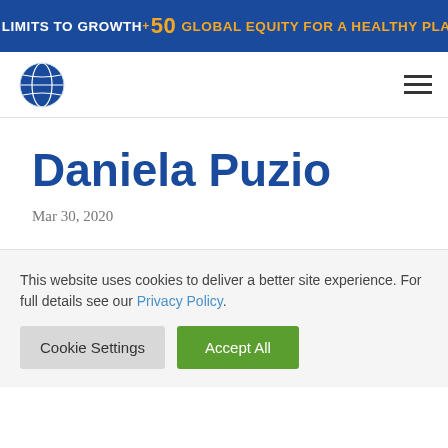THE LIMITS TO GROWTH +50 GLOBAL EQUITY FOR A HEALTHY PLANET
[Figure (logo): Globe logo icon for Club of Rome / Limits to Growth 50 website]
Daniela Puzio
Mar 30, 2020
This website uses cookies to deliver a better site experience. For full details see our Privacy Policy.
Cookie Settings   Accept All